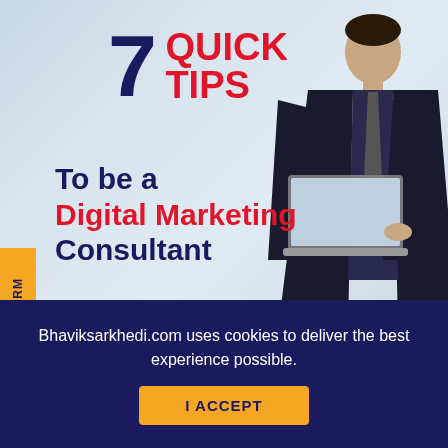[Figure (illustration): Hero image showing a businessman in dark suit holding a laptop, standing in an office-like environment with light blue/grey background. Title overlay reads '7 QUICK TIPS To be a Digital Marketing Consultant'.]
7 QUICK TIPS To be a Digital Marketing Consultant
INQUIRY FORM
Digital marketing is basically marketing the product or
Bhaviksarkhedi.com uses cookies to deliver the best experience possible.
I ACCEPT